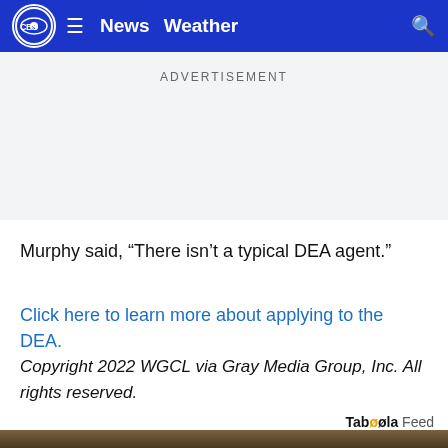CBS4 News Weather
ADVERTISEMENT
Murphy said, “There isn’t a typical DEA agent.”
Click here to learn more about applying to the DEA.
Copyright 2022 WGCL via Gray Media Group, Inc. All rights reserved.
Taboola Feed
[Figure (photo): Bottom strip showing a hand holding a light bulb]